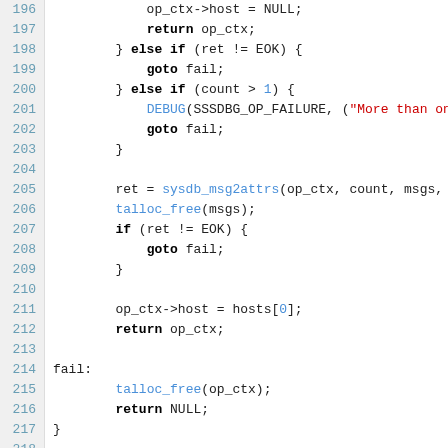[Figure (screenshot): Source code listing lines 196-218 showing C code with syntax highlighting. Blue line numbers on grey background, keywords in bold black, function names in blue, string literals in red.]